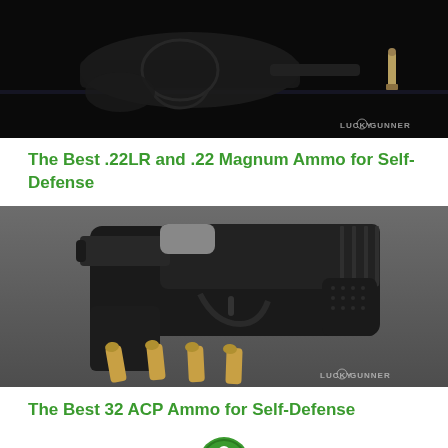[Figure (photo): Revolver handgun on dark background with a single bullet cartridge visible, Lucky Gunner watermark in bottom right corner]
The Best .22LR and .22 Magnum Ammo for Self-Defense
[Figure (photo): Black compact semi-automatic pistol with four brass bullet cartridges on a gray surface, Lucky Gunner watermark in bottom right corner]
The Best 32 ACP Ammo for Self-Defense
[Figure (logo): Lucky Gunner logo - green circular badge with person icon]